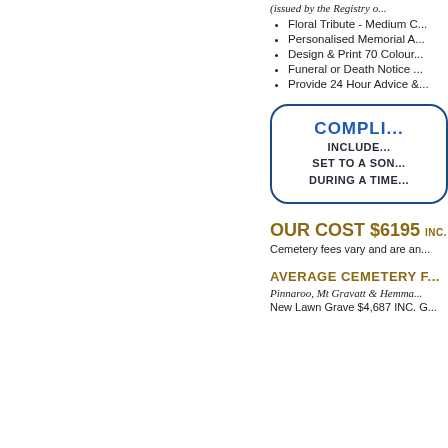(issued by the Registry o...
Floral Tribute - Medium C...
Personalised Memorial A...
Design & Print 70 Colour...
Funeral or Death Notice ...
Provide 24 Hour Advice &...
COMPLI... INCLUDE... SET TO A SON... DURING A TIME...
OUR COST $6195 INC. GST
Cemetery fees vary and are an...
AVERAGE CEMETERY F...
Pinnaroo, Mt Gravatt & Hemma...
New Lawn Grave $4,687 INC. G...